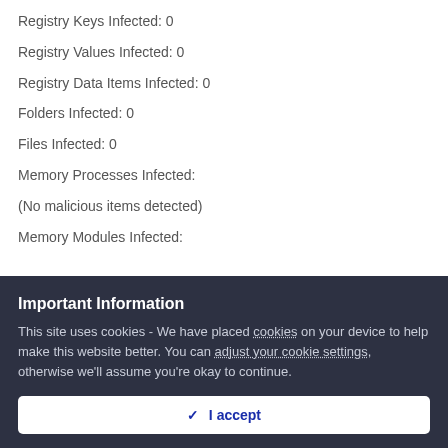Registry Keys Infected: 0
Registry Values Infected: 0
Registry Data Items Infected: 0
Folders Infected: 0
Files Infected: 0
Memory Processes Infected:
(No malicious items detected)
Memory Modules Infected:
Important Information
This site uses cookies - We have placed cookies on your device to help make this website better. You can adjust your cookie settings, otherwise we'll assume you're okay to continue.
✓  I accept